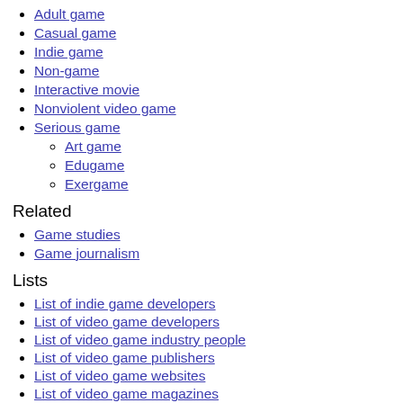Adult game
Casual game
Indie game
Non-game
Interactive movie
Nonviolent video game
Serious game
Art game
Edugame
Exergame
Related
Game studies
Game journalism
Lists
List of indie game developers
List of video game developers
List of video game industry people
List of video game publishers
List of video game websites
List of video game magazines